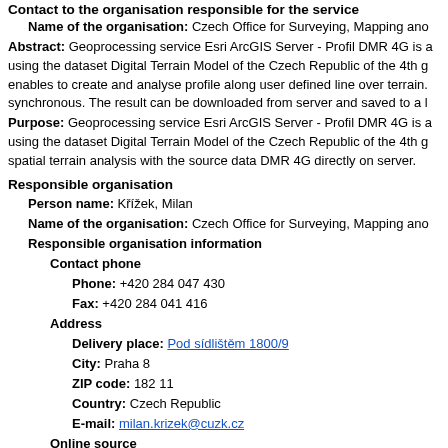Contact to the organisation responsible for the service
Name of the organisation: Czech Office for Surveying, Mapping and...
Abstract: Geoprocessing service Esri ArcGIS Server - Profil DMR 4G is a... using the dataset Digital Terrain Model of the Czech Republic of the 4th g... enables to create and analyse profile along user defined line over terrain.... synchronous. The result can be downloaded from server and saved to a l...
Purpose: Geoprocessing service Esri ArcGIS Server - Profil DMR 4G is a... using the dataset Digital Terrain Model of the Czech Republic of the 4th g... spatial terrain analysis with the source data DMR 4G directly on server.
Responsible organisation
Person name: Křížek, Milan
Name of the organisation: Czech Office for Surveying, Mapping and...
Responsible organisation information
Contact phone
Phone: +420 284 047 430
Fax: +420 284 041 416
Address
Delivery place: Pod sídlištěm 1800/9
City: Praha 8
ZIP code: 182 11
Country: Czech Republic
E-mail: milan.krizek@cuzk.cz
Online source
Link: https://ags.cuzk.cz/arcgis2/rest/services/Profile_DMR4G...
Contact hours: Mo-Fr 9:00 AM - 2:00 PM CET
Supplementary information: